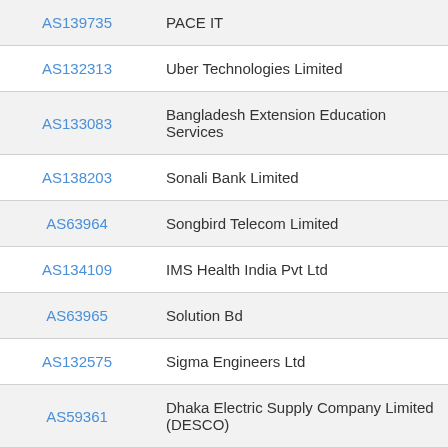| AS Number | Organization |
| --- | --- |
| AS139735 | PACE IT |
| AS132313 | Uber Technologies Limited |
| AS133083 | Bangladesh Extension Education Services |
| AS138203 | Sonali Bank Limited |
| AS63964 | Songbird Telecom Limited |
| AS134109 | IMS Health India Pvt Ltd |
| AS63965 | Solution Bd |
| AS132575 | Sigma Engineers Ltd |
| AS59361 | Dhaka Electric Supply Company Limited (DESCO) |